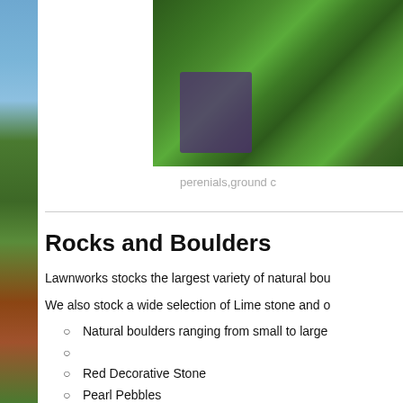[Figure (photo): Left side vertical strip photo showing blue sky and garden/landscape scene]
[Figure (photo): Top right photo showing green grass/plants with a purple plant label marker]
perenials,ground c
Rocks and Boulders
Lawnworks stocks the largest variety of natural bou
We also stock a wide selection of Lime stone and o
Natural boulders ranging from small to large
Red Decorative Stone
Pearl Pebbles
Mocha Decorative
Cherry Vanilla
Black Granite
Sandstone Flagstone (by the pallet)
Maryland Blue Flagstone (by the pallet)